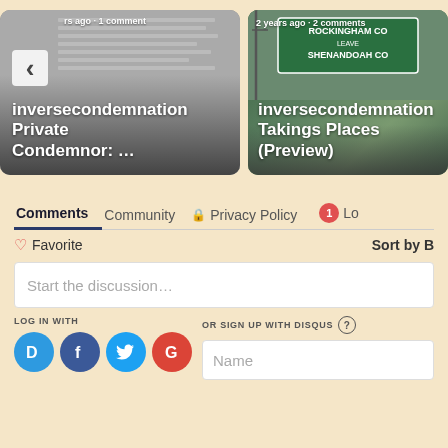[Figure (screenshot): Carousel card: inversecondemnation - Private Condemnor article, with left nav arrow, text 'years ago · 1 comment']
[Figure (screenshot): Carousel card: inversecondemnation - Takings Places (Preview), road sign photo showing Rockingham Co / Shenandoah Co, '2 years ago · 2 comments']
Comments
Community
Privacy Policy
1
Lo
♡ Favorite
Sort by B
Start the discussion…
LOG IN WITH
OR SIGN UP WITH DISQUS ?
Name